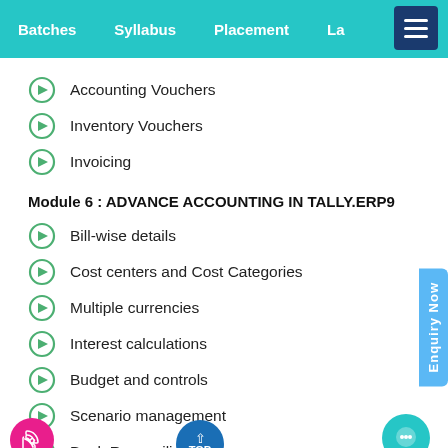Batches   Syllabus   Placement   La...
Accounting Vouchers
Inventory Vouchers
Invoicing
Module 6 : ADVANCE ACCOUNTING IN TALLY.ERP9
Bill-wise details
Cost centers and Cost Categories
Multiple currencies
Interest calculations
Budget and controls
Scenario management
Bank Reconciliation